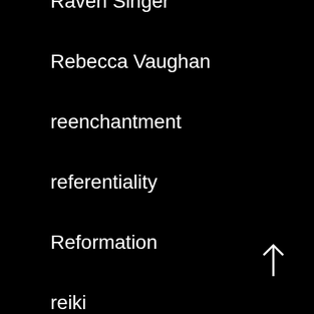Raven Singer
Rebecca Vaughan
reenchantment
referentiality
Reformation
reiki
reincarnation
relationships
relaxation
religion
remediation
Renaissance
[Figure (other): Upward pointing arrow scroll indicator]